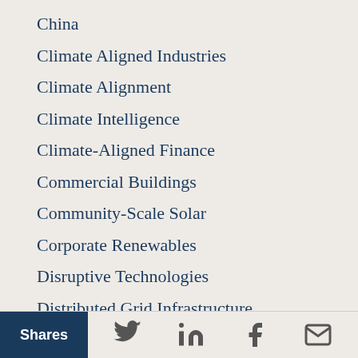China
Climate Aligned Industries
Climate Alignment
Climate Intelligence
Climate-Aligned Finance
Commercial Buildings
Community-Scale Solar
Corporate Renewables
Disruptive Technologies
Distributed Grid Infrastructure
Donor Impact Stories
e-Lab: Electricity Innovation Lab
Shares | Twitter | LinkedIn | Facebook | Email